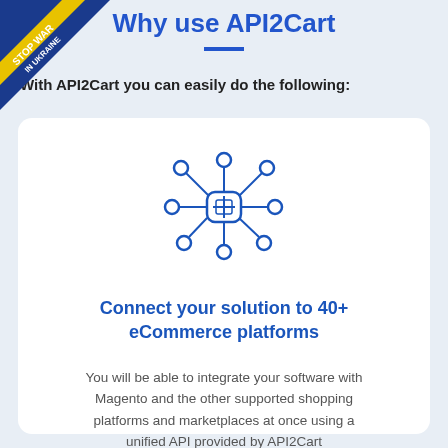[Figure (illustration): Ribbon banner in top-left corner with blue and yellow diagonal stripes, text reading STOP WAR IN UKRAINE]
Why use API2Cart
With API2Cart you can easily do the following:
[Figure (illustration): Blue network/cloud icon with nodes connected by lines radiating outward in all directions, representing integration with multiple platforms]
Connect your solution to 40+ eCommerce platforms
You will be able to integrate your software with Magento and the other supported shopping platforms and marketplaces at once using a unified API provided by API2Cart